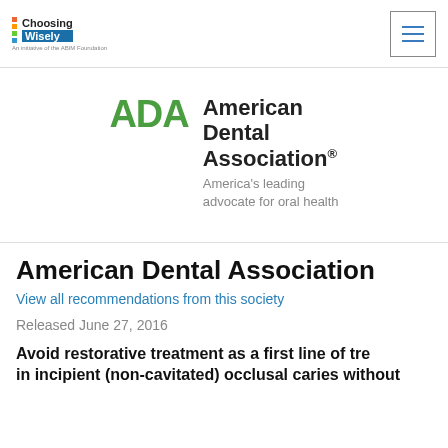Choosing Wisely
[Figure (logo): ADA American Dental Association logo with green ADA acronym and full name, tagline: America's leading advocate for oral health]
American Dental Association
View all recommendations from this society
Released June 27, 2016
Avoid restorative treatment as a first line of treatment in incipient (non-cavitated) occlusal caries without